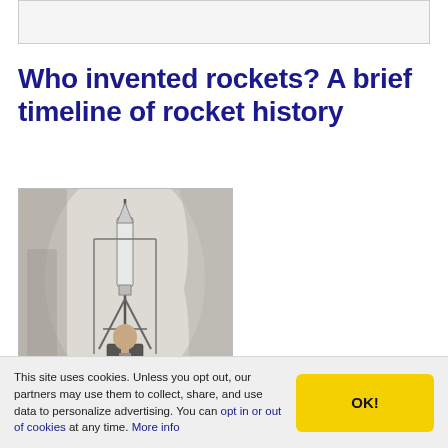Who invented rockets? A brief timeline of rocket history
[Figure (photo): Black and white photograph of a man standing next to a tall rocket apparatus with metal framework, in front of a light-colored backdrop.]
This site uses cookies. Unless you opt out, our partners may use them to collect, share, and use data to personalize advertising. You can opt in or out of cookies at any time. More info